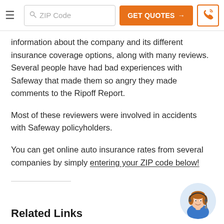ZIP Code | GET QUOTES → | phone button
information about the company and its different insurance coverage options, along with many reviews. Several people have had bad experiences with Safeway that made them so angry they made comments to the Ripoff Report.
Most of these reviewers were involved in accidents with Safeway policyholders.
You can get online auto insurance rates from several companies by simply entering your ZIP code below!
Related Links